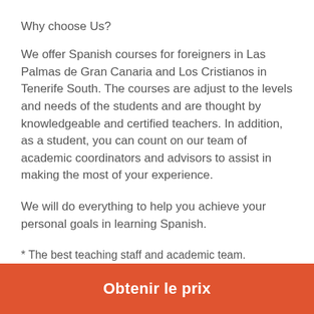Why choose Us?
We offer Spanish courses for foreigners in Las Palmas de Gran Canaria and Los Cristianos in Tenerife South. The courses are adjust to the levels and needs of the students and are thought by knowledgeable and certified teachers. In addition, as a student, you can count on our team of academic coordinators and advisors to assist in making the most of your experience.
We will do everything to help you achieve your personal goals in learning Spanish.
* The best teaching staff and academic team.
Our excellent educational team is made up of highly
Obtenir le prix